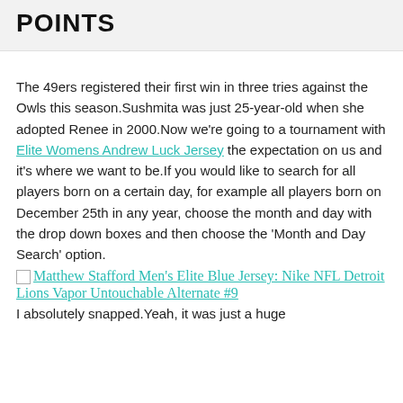POINTS
The 49ers registered their first win in three tries against the Owls this season.Sushmita was just 25-year-old when she adopted Renee in 2000.Now we’re going to a tournament with Elite Womens Andrew Luck Jersey the expectation on us and it’s where we want to be.If you would like to search for all players born on a certain day, for example all players born on December 25th in any year, choose the month and day with the drop down boxes and then choose the ‘Month and Day Search’ option.
[Figure (other): Linked image placeholder for Matthew Stafford Men's Elite Blue Jersey: Nike NFL Detroit Lions Vapor Untouchable Alternate #9]
I absolutely snapped.Yeah, it was just a huge